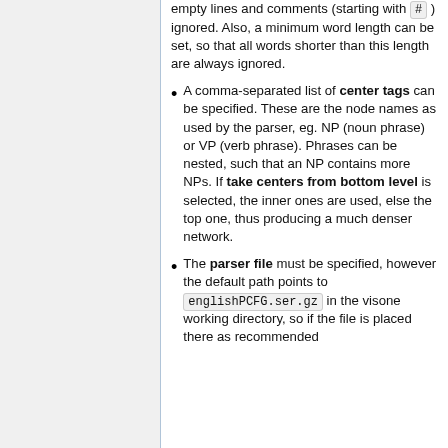empty lines and comments (starting with # ) ignored. Also, a minimum word length can be set, so that all words shorter than this length are always ignored.
A comma-separated list of center tags can be specified. These are the node names as used by the parser, eg. NP (noun phrase) or VP (verb phrase). Phrases can be nested, such that an NP contains more NPs. If take centers from bottom level is selected, the inner ones are used, else the top one, thus producing a much denser network.
The parser file must be specified, however the default path points to englishPCFG.ser.gz in the visone working directory, so if the file is placed there as recommended